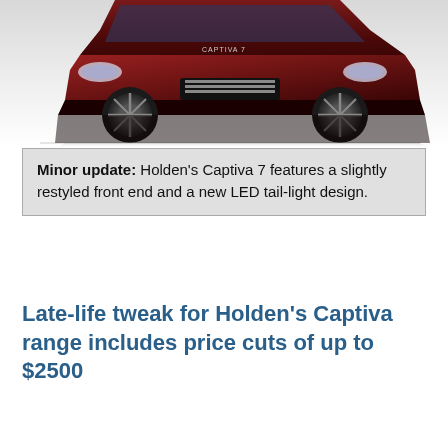[Figure (photo): Front view of a dark red/maroon Holden Captiva 7 SUV on a white background, showing a slightly restyled front end. The car badge 'CAPTIVA 7' is visible on the hood. The vehicle has large alloy wheels and is reflected slightly on the surface below.]
Minor update: Holden's Captiva 7 features a slightly restyled front end and a new LED tail-light design.
Late-life tweak for Holden's Captiva range includes price cuts of up to $2500